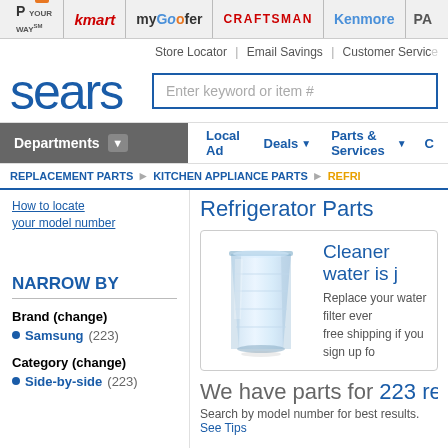SHOP YOUR WAY REWARDS | kmart | myGofer | CRAFTSMAN | Kenmore | PA
[Figure (logo): Sears logo in blue]
Store Locator | Email Savings | Customer Service
Enter keyword or item #
Departments  Local Ad  Deals  Parts & Services
REPLACEMENT PARTS > KITCHEN APPLIANCE PARTS > REFRI
How to locate your model number
Refrigerator Parts
NARROW BY
Brand (change)
Samsung (223)
Category (change)
Side-by-side (223)
[Figure (photo): Glass of water photo for water filter promo]
Cleaner water is j
Replace your water filter ever free shipping if you sign up fo
We have parts for 223 refri
Search by model number for best results. See Tips